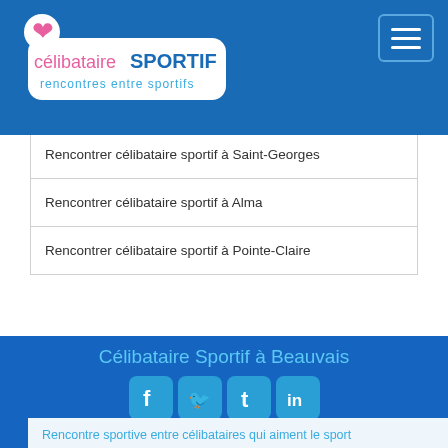CelibataireSPORTIF - rencontres entre sportifs
Rencontrer célibataire sportif à Saint-Georges
Rencontrer célibataire sportif à Alma
Rencontrer célibataire sportif à Pointe-Claire
Célibataire Sportif à Beauvais
[Figure (infographic): Social media share buttons: Facebook, Twitter, Tumblr, LinkedIn]
Rencontre sportive entre célibataires qui aiment le sport
La rencontre sportive
Rencontrer femme sportive
Rencontrez homme sportif / Rencontre et sport
Pourquoi faire des rencontres sportive